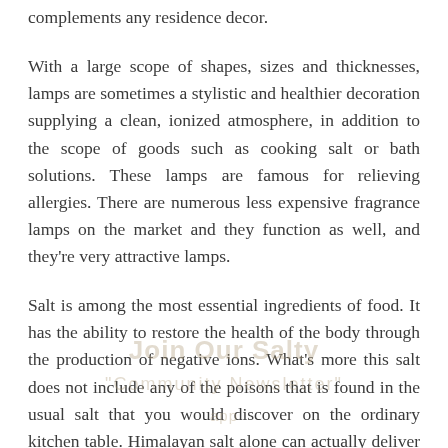complements any residence decor.
With a large scope of shapes, sizes and thicknesses, lamps are sometimes a stylistic and healthier decoration supplying a clean, ionized atmosphere, in addition to the scope of goods such as cooking salt or bath solutions. These lamps are famous for relieving allergies. There are numerous less expensive fragrance lamps on the market and they function as well, and they're very attractive lamps.
Salt is among the most essential ingredients of food. It has the ability to restore the health of the body through the production of negative ions. What's more this salt does not include any of the poisons that is found in the usual salt that you would discover on the ordinary kitchen table. Himalayan salt alone can actually deliver these beneficial effects, yet this item makes it even more intense. For all those of you who